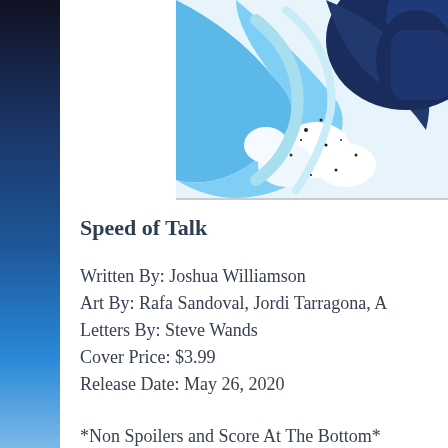[Figure (illustration): Comic book cover art showing abstract swirling blue, navy, white and light blue shapes with black speckles, partially cropped in upper right corner]
Speed of Talk
Written By: Joshua Williamson
Art By: Rafa Sandoval, Jordi Tarragona, A
Letters By: Steve Wands
Cover Price: $3.99
Release Date: May 26, 2020
*Non Spoilers and Score At The Bottom*